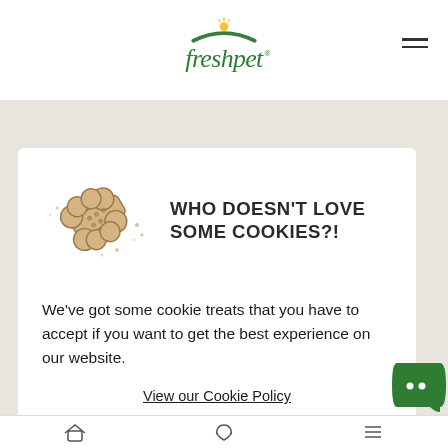freshpet (logo with hamburger menu)
WHO DOESN'T LOVE SOME COOKIES?!
We've got some cookie treats that you have to accept if you want to get the best experience on our website.
View our Cookie Policy
ACCEPT